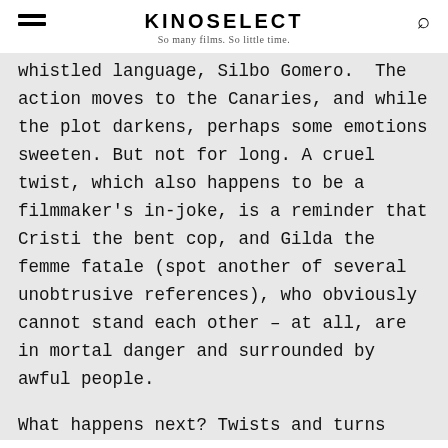KINOSELECT
So many films. So little time.
whistled language, Silbo Gomero. The action moves to the Canaries, and while the plot darkens, perhaps some emotions sweeten. But not for long. A cruel twist, which also happens to be a filmmaker's in-joke, is a reminder that Cristi the bent cop, and Gilda the femme fatale (spot another of several unobtrusive references), who obviously cannot stand each other – at all, are in mortal danger and surrounded by awful people.
What happens next? Twists and turns and…  Well: you should go and see it.  It's an enjoyable film, it's smart and fun, and it stars the incomparable